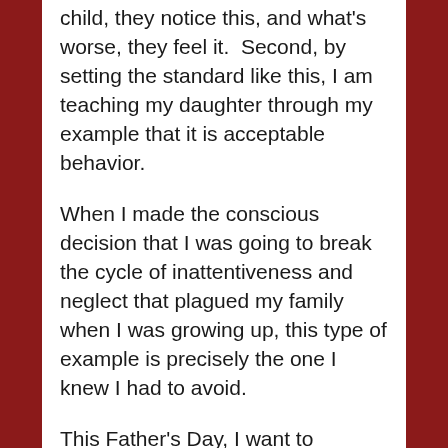child, they notice this, and what's worse, they feel it.  Second, by setting the standard like this, I am teaching my daughter through my example that it is acceptable behavior.
When I made the conscious decision that I was going to break the cycle of inattentiveness and neglect that plagued my family when I was growing up, this type of example is precisely the one I knew I had to avoid.
This Father's Day, I want to suggest a challenge.  I challenge all of you parents out there – both fathers AND mothers – to take the time to be mindfully present with your children at least once during this weekend of festivities.  To do so, first, listen carefully for an invitation to interact with your children.  It may be overt and explicit, such as a little boy begging for Dad to come outside and play